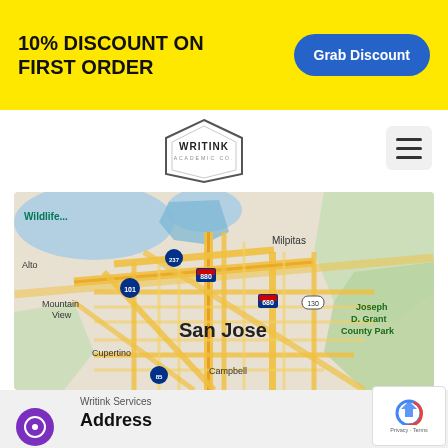10% DISCOUNT ON FIRST ORDER
Grab Discount
[Figure (logo): Writink hexagonal logo]
[Figure (map): Google map showing San Jose area including Milpitas, Mountain View, Cupertino, Campbell, Joseph D. Grant County Park, Wildlife area, with highways 101, 237, 880, 680, 130, 85]
Writink Services
Address